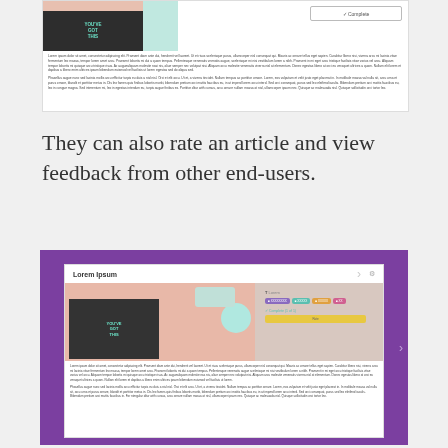[Figure (screenshot): Screenshot of a knowledge base or learning article interface showing a chalkboard image with 'YOU'VE GOT THIS' text, lorem ipsum body text, and a Complete button]
They can also rate an article and view feedback from other end-users.
[Figure (screenshot): Screenshot of a knowledge base article reader interface with purple header, article image showing 'YOU'VE GOT THIS' chalkboard, author tags, Rate button, lorem ipsum body text]